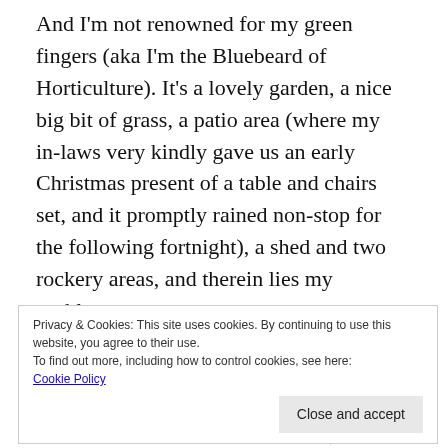And I'm not renowned for my green fingers (aka I'm the Bluebeard of Horticulture). It's a lovely garden, a nice big bit of grass, a patio area (where my in-laws very kindly gave us an early Christmas present of a table and chairs set, and it promptly rained non-stop for the following fortnight), a shed and two rockery areas, and therein lies my problem.
The rockery areas are partly proper plant and mostly weed. My father in law dosed them up with weedkiller the day we moved in so I could weed them, and I've been putting it off and off and off. Procrastination is, after all, my middle name. I'm scared of pulling up something that's not a weed but an ultra-rare, incredibly
Privacy & Cookies: This site uses cookies. By continuing to use this website, you agree to their use. To find out more, including how to control cookies, see here: Cookie Policy